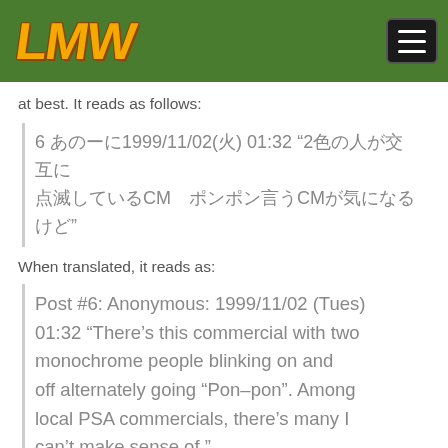LMW
at best. It reads as follows:
6 xxxxxxx1999/11/02(x) 01:32 “2xxxxxxxxxx xxxxxxxxxx　CM　 xxxxxxxxxx　CM　xxxxxxxxxx xxxxxx”
When translated, it reads as:
Post #6: Anonymous: 1999/11/02 (Tues) 01:32 “There’s this commercial with two monochrome people blinking on and off alternately going “Pon–pon”. Among local PSA commercials, there’s many I can’t make sense of.”